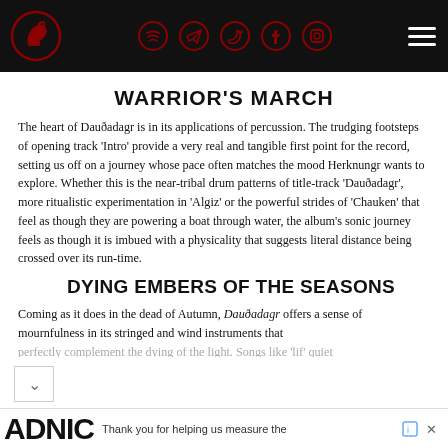Navigation header with logo and social media icons (Spotify, Telegram, Twitter, Facebook, Instagram) and hamburger menu
WARRIOR'S MARCH
The heart of Dauðadagr is in its applications of percussion. The trudging footsteps of opening track 'Intro' provide a very real and tangible first point for the record, setting us off on a journey whose pace often matches the mood Herknungr wants to explore. Whether this is the near-tribal drum patterns of title-track 'Dauðadagr', more ritualistic experimentation in 'Algiz' or the powerful strides of 'Chauken' that feel as though they are powering a boat through water, the album's sonic journey feels as though it is imbued with a physicality that suggests literal distance being crossed over its run-time.
DYING EMBERS OF THE SEASONS
Coming as it does in the dead of Autumn, Dauðadagr offers a sense of mournfulness in its stringed and wind instruments that perfectly complement the dying of the light. Songs like 'lif' quiet...
Thank you for helping us measure the